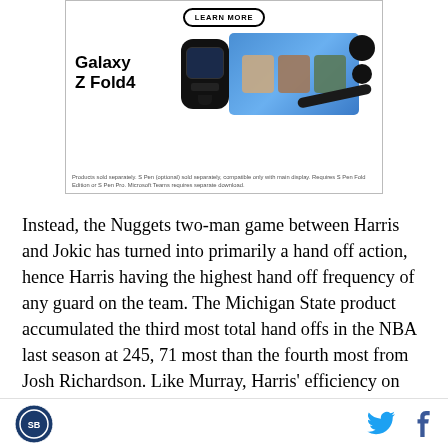[Figure (illustration): Samsung Galaxy Z Fold4 advertisement banner showing a smartwatch, foldable phone with video call on screen, earbuds, and S Pen. Text reads 'LEARN MORE', 'Galaxy Z Fold4', and disclaimer text about products sold separately.]
Instead, the Nuggets two-man game between Harris and Jokic has turned into primarily a hand off action, hence Harris having the highest hand off frequency of any guard on the team. The Michigan State product accumulated the third most total hand offs in the NBA last season at 245, 71 most than the fourth most from Josh Richardson. Like Murray, Harris’ efficiency on the play type is good but not great at 0.98, 67th percentile.
SB Nation logo | Twitter icon | Facebook icon